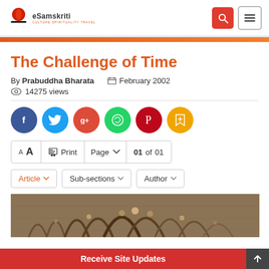eSamskriti - Culture Spirituality Travel
The Challenge of Time
By Prabuddha Bharata   February 2002
14275 views
[Figure (screenshot): Social sharing buttons: Facebook, Twitter, Google+, WhatsApp, Pinterest, Bookmark]
[Figure (screenshot): Toolbar with font size controls (A A), Print button, Page dropdown showing 01 of 01]
[Figure (screenshot): Dropdown buttons: Article, Sub-sections, Author]
[Figure (photo): Photo of ancient stone temple architecture with carved wheels and arches]
Receive Site Updates